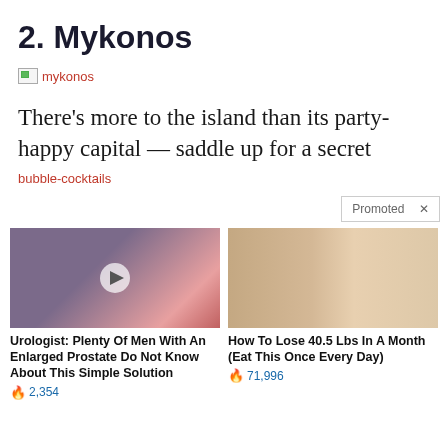2. Mykonos
[Figure (illustration): Broken image placeholder with alt text 'mykonos']
There's more to the island than its party-happy capital — saddle up for a secret
[Figure (illustration): Broken image placeholder with alt text 'bubble-cocktails']
Promoted X
[Figure (photo): Medical animation showing prostate anatomy with play button overlay]
[Figure (photo): Before and after weight loss comparison photo of a woman in black bra]
Urologist: Plenty Of Men With An Enlarged Prostate Do Not Know About This Simple Solution
🔥 2,354
How To Lose 40.5 Lbs In A Month (Eat This Once Every Day)
🔥 71,996